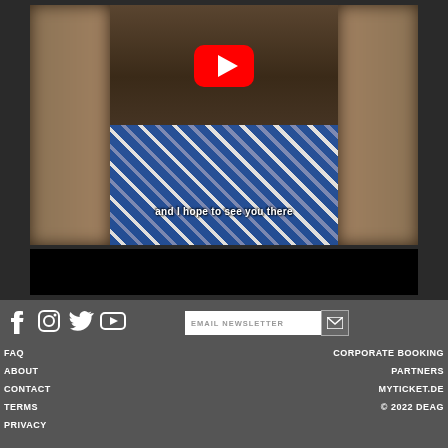[Figure (screenshot): YouTube video screenshot showing a man in a blue plaid shirt smiling, with subtitle text 'and I hope to see you there' and a YouTube play button overlay. The sides of the image are blurred. Below the video is a black bar.]
Social icons: Facebook, Instagram, Twitter, YouTube. EMAIL NEWSLETTER input box. Links: FAQ, ABOUT, CONTACT, TERMS, PRIVACY (left side). CORPORATE BOOKING, PARTNERS, MYTICKET.DE, © 2022 DEAG (right side).